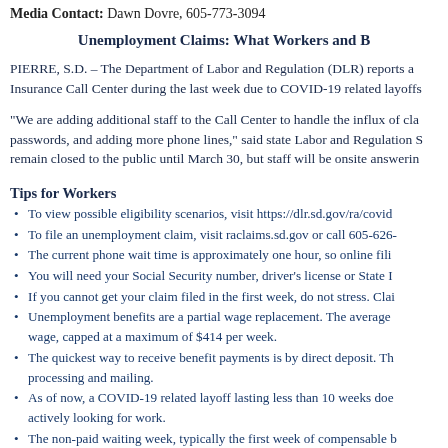Media Contact: Dawn Dovre, 605-773-3094
Unemployment Claims: What Workers and B
PIERRE, S.D. – The Department of Labor and Regulation (DLR) reports a Insurance Call Center during the last week due to COVID-19 related layoffs
“We are adding additional staff to the Call Center to handle the influx of cla passwords, and adding more phone lines,” said state Labor and Regulation S remain closed to the public until March 30, but staff will be onsite answerin
Tips for Workers
To view possible eligibility scenarios, visit https://dlr.sd.gov/ra/covid
To file an unemployment claim, visit raclaims.sd.gov or call 605-626-
The current phone wait time is approximately one hour, so online fili
You will need your Social Security number, driver’s license or State I
If you cannot get your claim filed in the first week, do not stress. Clai
Unemployment benefits are a partial wage replacement. The average wage, capped at a maximum of $414 per week.
The quickest way to receive benefit payments is by direct deposit. Th processing and mailing.
As of now, a COVID-19 related layoff lasting less than 10 weeks doe actively looking for work.
The non-paid waiting week, typically the first week of compensable b
People who are being paid to work from home or those receiving paid